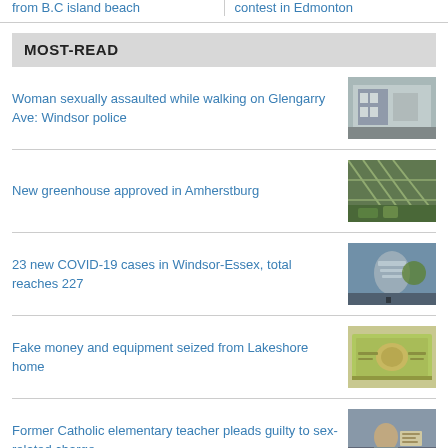from B.C island beach  contest in Edmonton
MOST-READ
Woman sexually assaulted while walking on Glengarry Ave: Windsor police
[Figure (photo): Photo of a building exterior]
New greenhouse approved in Amherstburg
[Figure (photo): Photo of a greenhouse]
23 new COVID-19 cases in Windsor-Essex, total reaches 227
[Figure (photo): Photo of a person speaking at a podium]
Fake money and equipment seized from Lakeshore home
[Figure (photo): Photo of fake hundred dollar bills]
Former Catholic elementary teacher pleads guilty to sex-related charge
[Figure (photo): Photo of a person holding a certificate]